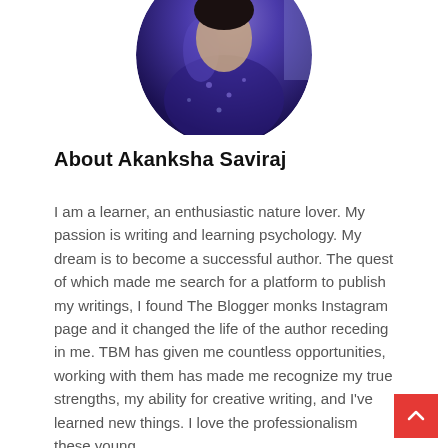[Figure (photo): Circular cropped profile photo of Akanksha Saviraj wearing a dark blue/purple outfit, partially cropped at top of page]
About Akanksha Saviraj
I am a learner, an enthusiastic nature lover. My passion is writing and learning psychology. My dream is to become a successful author. The quest of which made me search for a platform to publish my writings, I found The Blogger monks Instagram page and it changed the life of the author receding in me. TBM has given me countless opportunities, working with them has made me recognize my true strengths, my ability for creative writing, and I've learned new things. I love the professionalism these young